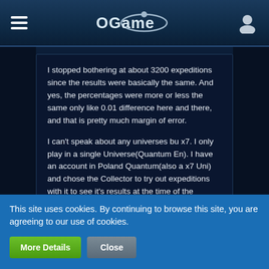OGame navigation header
I stopped bothering at about 3200 expeditions since the results were basically the same. And yes, the percentages were more or less the same only like 0.01 difference here and there, and that is pretty much margin of error.

I can't speak about any universes bu x7. I only play in a single Universe(Quantum En). I have an account in Poland Quantum(also a x7 Uni) and chose the Collector to try out expeditions with it to see it's results at the time of the release of the update.
Nixian
This site uses cookies. By continuing to browse this site, you are agreeing to our use of cookies.